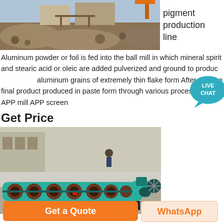[Figure (photo): Outdoor photo of a quarry or mining site with machinery and crushed stone materials]
pigment production line
Aluminum powder or foil is fed into the ball mill in which mineral spirit and stearic acid or oleic are added pulverized and ground to produce aluminum grains of extremely thin flake form After that the final product produced in paste form through various processes of APP mill APP screen
[Figure (illustration): Live Chat bubble icon overlay]
Get Price
[Figure (photo): Industrial spiral/screw conveyor machine (teal/green colored) inside a manufacturing facility]
Get a Quote
WhatsApp